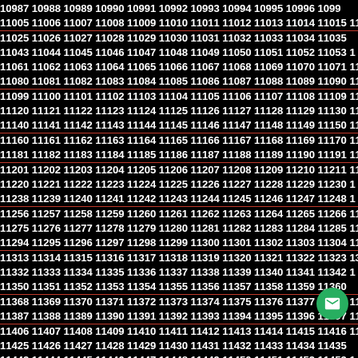Sequential number grid from 10987 to 11582, displayed in rows of approximately 11 numbers each on a black background with white bold text. Some rows have red underlines. Numbers increase sequentially left to right, top to bottom.